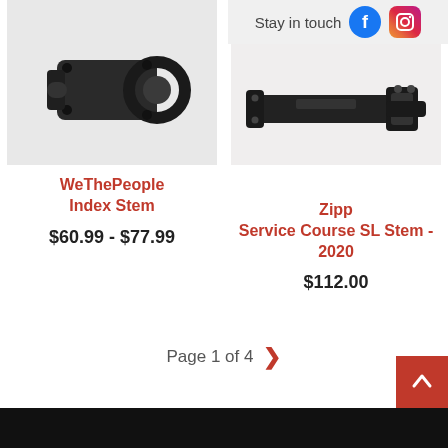[Figure (photo): Close-up photo of a black WeThePeople Index Stem bicycle component]
[Figure (photo): Photo of a black Zipp Service Course SL Stem 2020 bicycle component]
Stay in touch
WeThePeople
Index Stem
$60.99 - $77.99
Zipp
Service Course SL Stem - 2020
$112.00
Page 1 of 4